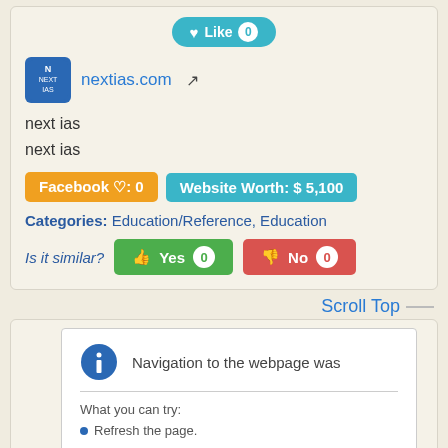[Figure (screenshot): Like button with heart icon and count 0 in teal/cyan style]
nextias.com
next ias
next ias
Facebook ♡: 0   Website Worth: $ 5,100
Categories: Education/Reference, Education
Is it similar?  Yes 0  No 0
Scroll Top
Navigation to the webpage was
What you can try:
Refresh the page.